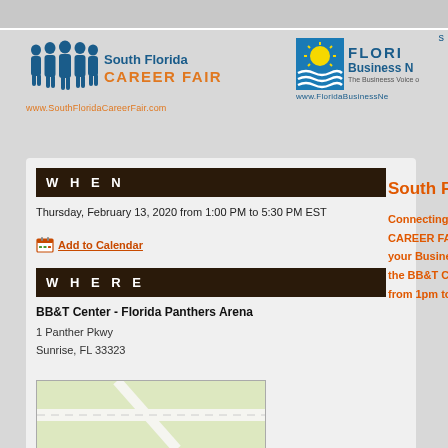[Figure (logo): South Florida Career Fair logo with blue silhouette people icons and orange/blue text, website www.SouthFloridaCareerFair.com]
[Figure (logo): Florida Business Network logo with sun and waves icon, text FLORIDA Business Network, The Business Voice, www.FloridaBusinessNe...]
W H E N
Thursday, February 13, 2020 from 1:00 PM to 5:30 PM EST
Add to Calendar
W H E R E
BB&T Center - Florida Panthers Arena
1 Panther Pkwy
Sunrise, FL 33323
[Figure (map): Street map showing area near BB&T Center, Sunrise FL]
South F
Connecting
CAREER FA
your Busine
the BB&T C
from 1pm to